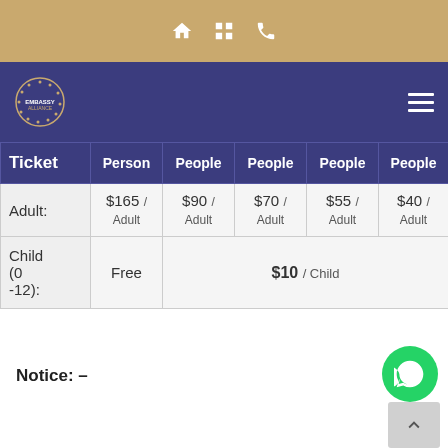[Figure (screenshot): Top gold navigation bar with home, grid, and phone icons in white]
[Figure (logo): Embassy Alliance logo with dotted circular emblem and text on dark blue navigation bar]
| Ticket | Person | People | People | People | People |
| --- | --- | --- | --- | --- | --- |
| Adult: | $165 / Adult | $90 / Adult | $70 / Adult | $55 / Adult | $40 / Adult |
| Child (0-12): | Free | $10 / Child | $10 / Child | $10 / Child | $10 / Child |
Notice: –